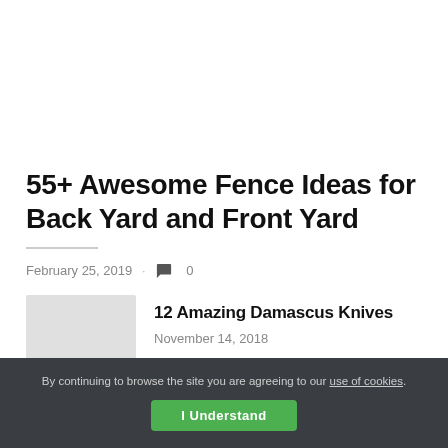55+ Awesome Fence Ideas for Back Yard and Front Yard
February 25, 2019  ·  💬 0
12 Amazing Damascus Knives
November 14, 2018
By continuing to browse the site you are agreeing to our use of cookies.
I Understand